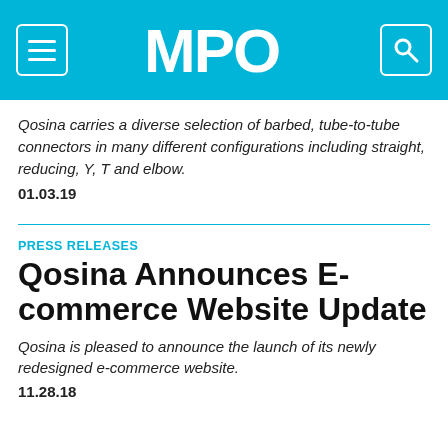MPO
Qosina carries a diverse selection of barbed, tube-to-tube connectors in many different configurations including straight, reducing, Y, T and elbow.
01.03.19
PRESS RELEASES
Qosina Announces E-commerce Website Update
Qosina is pleased to announce the launch of its newly redesigned e-commerce website.
11.28.18